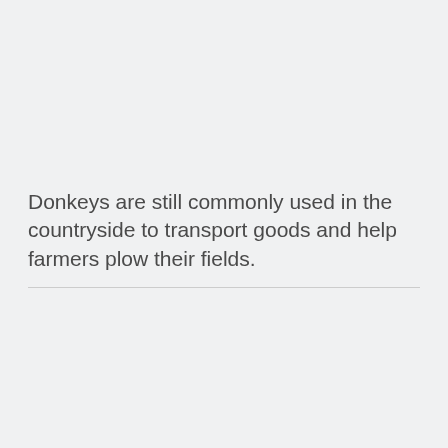Donkeys are still commonly used in the countryside to transport goods and help farmers plow their fields.